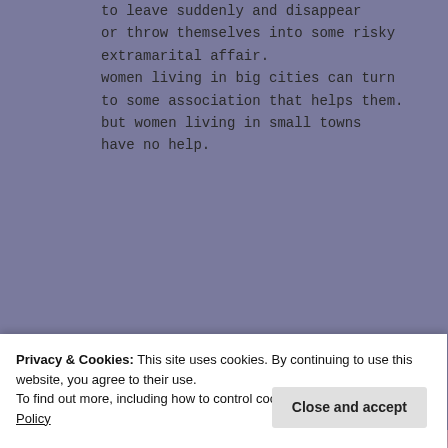to leave suddenly and disappear or throw themselves into some risky extramarital affair. women living in big cities can turn to some association that helps them. but women living in small towns have no help.
Share this:
[Figure (screenshot): Share buttons for Twitter, Facebook, Print, LinkedIn, Reddit, and Tumblr]
Privacy & Cookies: This site uses cookies. By continuing to use this website, you agree to their use. To find out more, including how to control cookies, see here: Cookie Policy
Close and accept